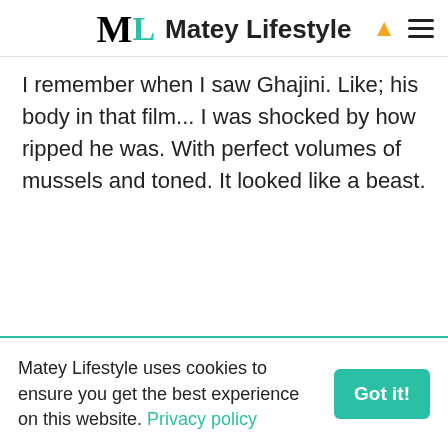Matey Lifestyle
I remember when I saw Ghajini. Like; his body in that film... I was shocked by how ripped he was. With perfect volumes of mussels and toned. It looked like a beast.
Matey Lifestyle uses cookies to ensure you get the best experience on this website. Privacy policy Got it!